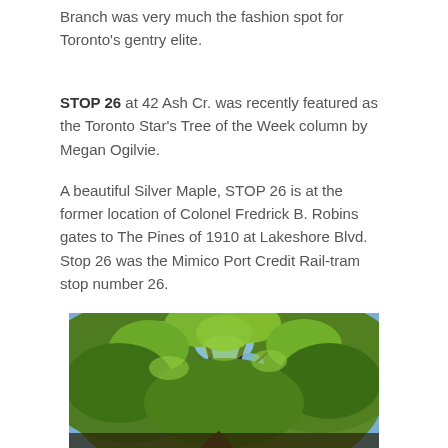Branch was very much the fashion spot for Toronto's gentry elite.
STOP 26 at 42 Ash Cr. was recently featured as the Toronto Star's Tree of the Week column by Megan Ogilvie.
A beautiful Silver Maple, STOP 26 is at the former location of Colonel Fredrick B. Robins gates to The Pines of 1910 at Lakeshore Blvd. Stop 26 was the Mimico Port Credit Rail-tram stop number 26.
[Figure (photo): Photograph looking up into a large tree canopy with green leaves against a blue sky, likely a Silver Maple tree.]